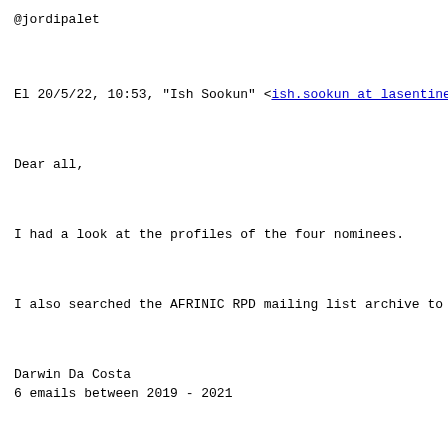@jordipalet
El 20/5/22, 10:53, "Ish Sookun" <ish.sookun at lasentine
Dear all,
I had a look at the profiles of the four nominees.
I also searched the AFRINIC RPD mailing list archive to s
Darwin Da Costa
6 emails between 2019 - 2021